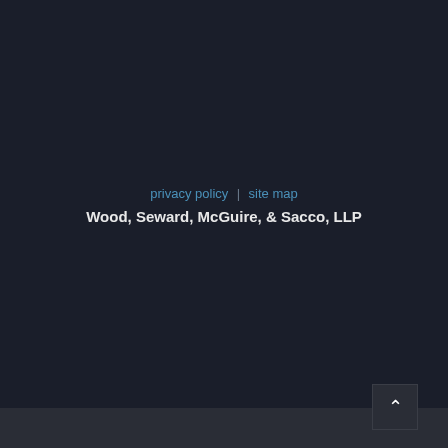privacy policy | site map
Wood, Seward, McGuire, & Sacco, LLP